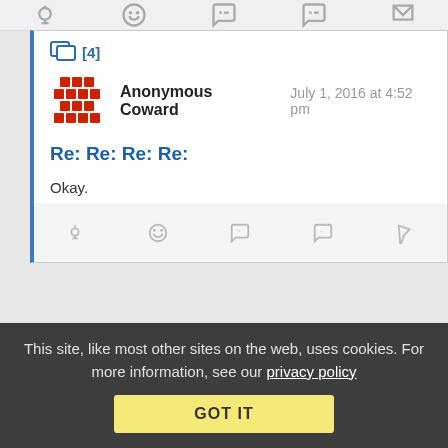[Figure (screenshot): Top icon bar with lightbulb, emoji, chat bubble, and flag icons in gray]
[4]
[Figure (illustration): Anonymous Coward avatar: red diamond/cross pattern icon]
Anonymous Coward    July 1, 2016 at 4:52 pm
Re: Re: Re: Re:
Okay.
Reply | View in chronology
[Figure (screenshot): Bottom icon bar with lightbulb, laugh emoji, quote bubble, comment bubble, and flag icons]
This site, like most other sites on the web, uses cookies. For more information, see our privacy policy
GOT IT